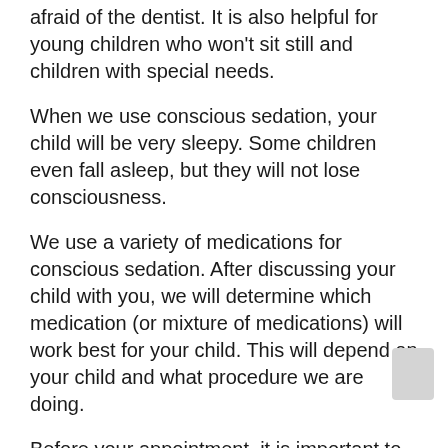afraid of the dentist. It is also helpful for young children who won't sit still and children with special needs.
When we use conscious sedation, your child will be very sleepy. Some children even fall asleep, but they will not lose consciousness.
We use a variety of medications for conscious sedation. After discussing your child with you, we will determine which medication (or mixture of medications) will work best for your child. This will depend on your child and what procedure we are doing.
Before your appointment, it is important to let us know if your child has any changes to his